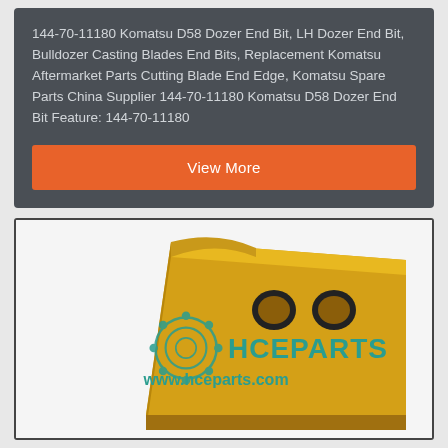144-70-11180 Komatsu D58 Dozer End Bit, LH Dozer End Bit, Bulldozer Casting Blades End Bits, Replacement Komatsu Aftermarket Parts Cutting Blade End Edge, Komatsu Spare Parts China Supplier 144-70-11180 Komatsu D58 Dozer End Bit Feature: 144-70-11180
[Figure (other): Orange/yellow rectangular button labeled 'View More']
[Figure (photo): Product photo of a yellow Komatsu D58 Dozer End Bit (bulldozer casting blade end bit) with two bolt holes visible, displayed against a white background. Teal HCEPARTS logo and www.hceparts.com watermark overlaid on the image.]